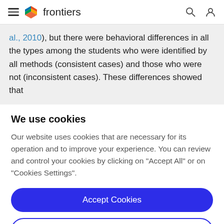frontiers
al., 2010), but there were behavioral differences in all the types among the students who were identified by all methods (consistent cases) and those who were not (inconsistent cases). These differences showed that
We use cookies
Our website uses cookies that are necessary for its operation and to improve your experience. You can review and control your cookies by clicking on "Accept All" or on "Cookies Settings".
Accept Cookies
Cookies Settings